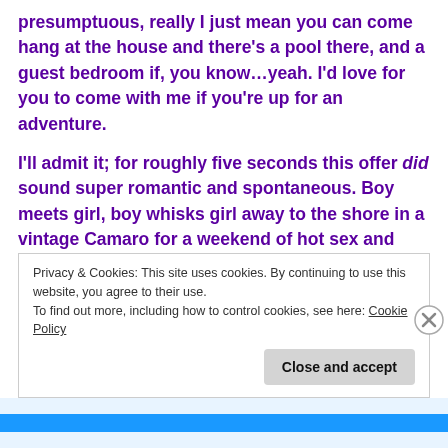presumptuous, really I just mean you can come hang at the house and there's a pool there, and a guest bedroom if, you know...yeah. I'd love for you to come with me if you're up for an adventure.
I'll admit it; for roughly five seconds this offer did sound super romantic and spontaneous. Boy meets girl, boy whisks girl away to the shore in a vintage Camaro for a weekend of hot sex and drag racing (yes, I was essentially confusing my life with a Bruce Springsteen song. We Jersey girls do that sometimes).
Privacy & Cookies: This site uses cookies. By continuing to use this website, you agree to their use.
To find out more, including how to control cookies, see here: Cookie Policy